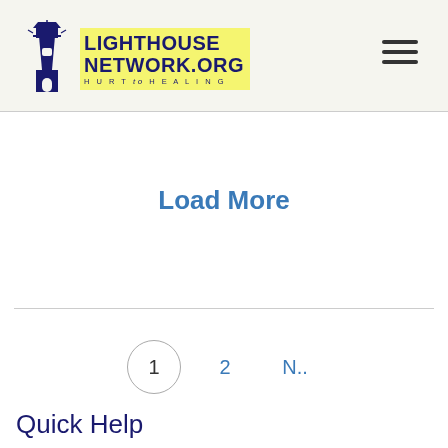LIGHTHOUSE NETWORK.ORG HURT to HEALING
Load More
1  2  N..
Quick Help